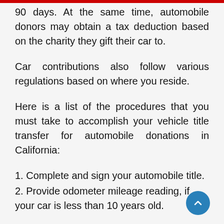90 days. At the same time, automobile donors may obtain a tax deduction based on the charity they gift their car to.
Car contributions also follow various regulations based on where you reside.
Here is a list of the procedures that you must take to accomplish your vehicle title transfer for automobile donations in California:
1. Complete and sign your automobile title.
2. Provide odometer mileage reading, if your car is less than 10 years old.